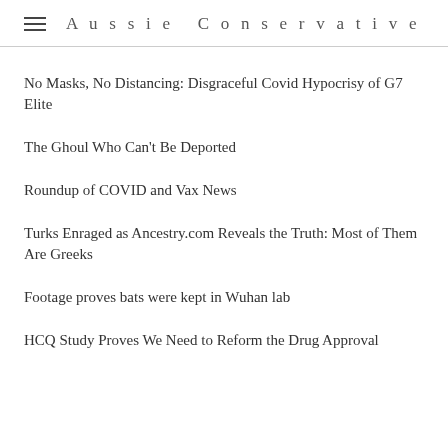Aussie Conservative
No Masks, No Distancing: Disgraceful Covid Hypocrisy of G7 Elite
The Ghoul Who Can't Be Deported
Roundup of COVID and Vax News
Turks Enraged as Ancestry.com Reveals the Truth: Most of Them Are Greeks
Footage proves bats were kept in Wuhan lab
HCQ Study Proves We Need to Reform the Drug Approval